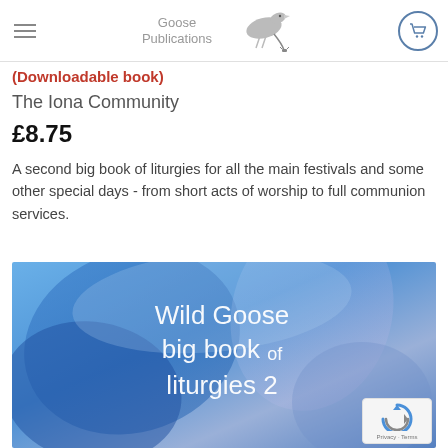Goose Publications
(Downloadable book)
The Iona Community
£8.75
A second big book of liturgies for all the main festivals and some other special days - from short acts of worship to full communion services.
[Figure (photo): Book cover image for 'Wild Goose big book of liturgies 2' with a blue abstract background showing curved shapes in shades of blue and purple, with white text overlaid.]